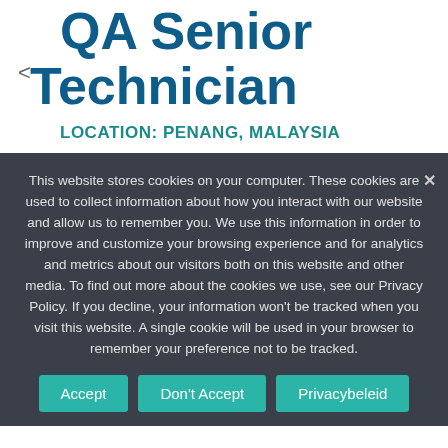QA Senior Technician
LOCATION: PENANG, MALAYSIA
This website stores cookies on your computer. These cookies are used to collect information about how you interact with our website and allow us to remember you. We use this information in order to improve and customize your browsing experience and for analytics and metrics about our visitors both on this website and other media. To find out more about the cookies we use, see our Privacy Policy. If you decline, your information won't be tracked when you visit this website. A single cookie will be used in your browser to remember your preference not to be tracked.
Accept | Don't Accept | Privacybeleid